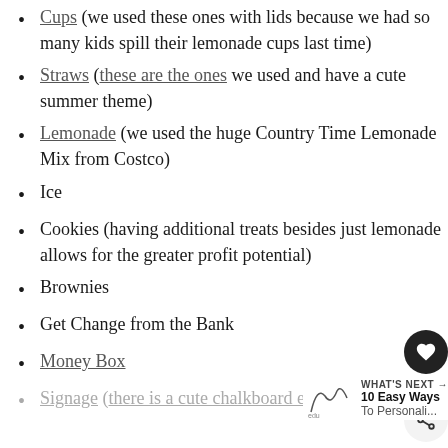Cups (we used these ones with lids because we had so many kids spill their lemonade cups last time)
Straws (these are the ones we used and have a cute summer theme)
Lemonade (we used the huge Country Time Lemonade Mix from Costco)
Ice
Cookies (having additional treats besides just lemonade allows for the greater profit potential)
Brownies
Get Change from the Bank
Money Box
Signage (there is a cute chalkboard easel to...